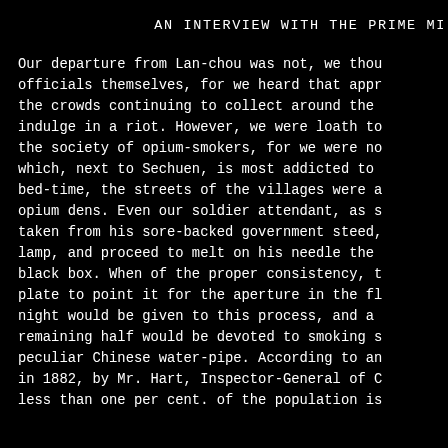AN INTERVIEW WITH THE PRIME MI
Our departure from Lan-chou was not, we thou officials themselves, for we heard that appr the crowds continuing to collect around the indulge in a riot. However, we were loath to the society of opium-smokers, for we were no which, next to Sechuen, is most addicted to bed-time, the streets of the villages were a opium dens. Even our soldier attendant, as s taken from his sore-backed government steed, lamp, and proceed to melt on his needle the black box. When of the proper consistency, t plate to point it for the aperture in the fl night would be given to this process, and a remaining half would be devoted to smoking s peculiar Chinese water-pipe. According to an in 1882, by Mr. Hart, Inspector-General of C less than one per cent. of the population is